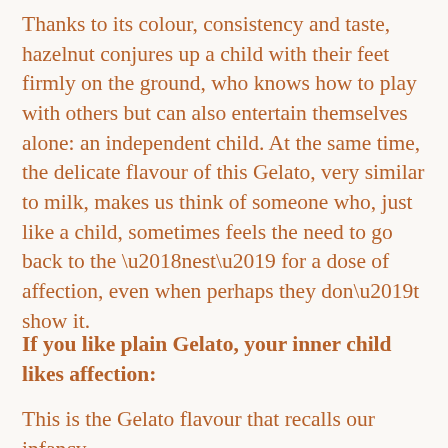Thanks to its colour, consistency and taste, hazelnut conjures up a child with their feet firmly on the ground, who knows how to play with others but can also entertain themselves alone: an independent child. At the same time, the delicate flavour of this Gelato, very similar to milk, makes us think of someone who, just like a child, sometimes feels the need to go back to the ‘nest’ for a dose of affection, even when perhaps they don’t show it.
If you like plain Gelato, your inner child likes affection:
This is the Gelato flavour that recalls our infancy